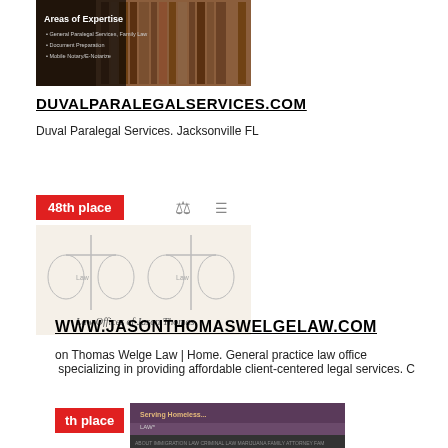[Figure (screenshot): Screenshot of Duval Paralegal Services website showing Areas of Expertise with law books in background]
DUVALPARALEGALSERVICES.COM
Duval Paralegal Services. Jacksonville FL
48th place
[Figure (screenshot): Screenshot of Law Offices of Jason Thomas website showing scales of justice imagery]
WWW.JASONTHOMASWELGELAW.COM
on Thomas Welge Law | Home. General practice law office specializing in providing affordable client-centered legal services. C
[Figure (screenshot): Partial screenshot of another law firm website with red badge showing 'th place']